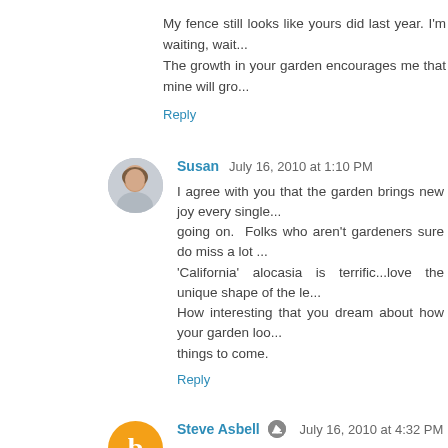My fence still looks like yours did last year. I'm waiting, wait... The growth in your garden encourages me that mine will gro...
Reply
Susan  July 16, 2010 at 1:10 PM
I agree with you that the garden brings new joy every single... going on.  Folks who aren't gardeners sure do miss a lot... 'California' alocasia is terrific...love the unique shape of the le... How interesting that you dream about how your garden loo... things to come.
Reply
Steve Asbell  July 16, 2010 at 4:32 PM
Noel: Thanks! By the way, I'm still struggling with the folks... They're wanting me to change my html to make it more searc...
danger garden: I know! Isn't it great?
Autumn belle: I think that the alocasia is my favorite plan...